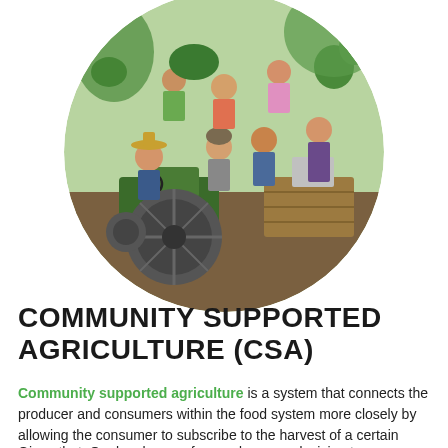[Figure (photo): A circular cropped photo of a group of young people (farmers/volunteers) joyfully posed on and around a green tractor in a farm/garden setting, some holding vegetables and greenery, outdoors in summer.]
COMMUNITY SUPPORTED AGRICULTURE (CSA)
Community supported agriculture is a system that connects the producer and consumers within the food system more closely by allowing the consumer to subscribe to the harvest of a certain farm
Given that, Quebec loses a farm a day, your decision to